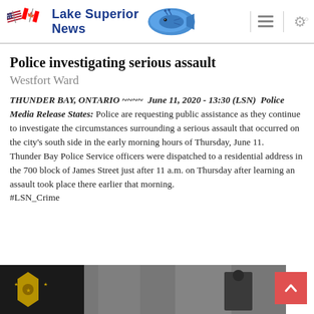Lake Superior News
Police investigating serious assault
Westfort Ward
THUNDER BAY, ONTARIO ~~~~  June 11, 2020 - 13:30 (LSN)  Police Media Release States: Police are requesting public assistance as they continue to investigate the circumstances surrounding a serious assault that occurred on the city's south side in the early morning hours of Thursday, June 11.
Thunder Bay Police Service officers were dispatched to a residential address in the 700 block of James Street just after 11 a.m. on Thursday after learning an assault took place there earlier that morning.
#LSN_Crime
[Figure (photo): Partial black and white photo showing police/law enforcement imagery at the bottom of the page]